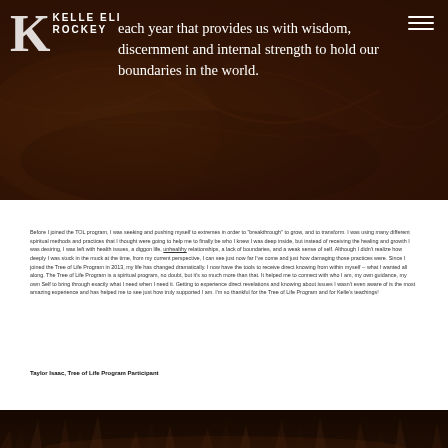[Figure (photo): Dark reddish-brown textured background resembling ancient rock or soil, used as hero section background]
KELLE ELI ROCKEY
each year that provides us with wisdom, discernment and internal strength to hold our boundaries in the world.
Before I joined the TOL program, I was seeking and pushing myself to extremes in order to "breakthrough" to grow, and to transform. I was using many different spiritual methods and practices that I thought were going to help me to finally be who I knew I was deep inside, but instead of receiving the healing and growth I was desiring, I was left with health issues, a diggon life, unhealthy relationships, a lack of boundaries, and a weak sense of self. Although I didn't realize how deeply I was stuck in the muck at the time, from my current perspective, I can see just now far I've come and just how damaging those practices were. Since I joined the Tree of Life Program in 2013, my life has changed dramatically. I now have the tools to receive direct knowing from within myself -- what I wanted all along. The Tree of Life Program is a spiritual program, no doubt, but it's so much more than that. It helped me to connect with who I am, my own guidance, my own Self to bring through exactly what I need when I need it. Getting to experience direct revelations and knowing about issues I wasn't even aware of is the most amazing experience and has helped me to see just how truly supported I am. I'm so thankful for the Tree of Life Program and for Kelle's teachings!
Taylor Isaac, Tree of Life Program Participant
[Figure (photo): Dark bottom banner image showing silhouettes of grass or reeds against a dark background with warm light]